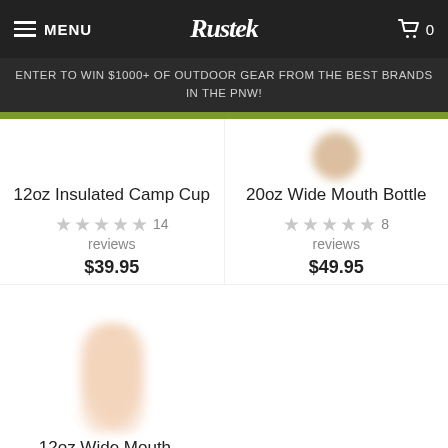MENU | Rustek | 0
ENTER TO WIN $1000+ OF OUTDOOR GEAR FROM THE BEST BRANDS IN THE PNW!
[Figure (photo): Product image area for 12oz Insulated Camp Cup]
12oz Insulated Camp Cup
14 reviews
$39.95
[Figure (photo): Product image area for 20oz Wide Mouth Bottle - blurred bottle top visible]
20oz Wide Mouth Bottle
8 reviews
$49.95
[Figure (photo): Product image for third product - blurred bottle shape]
12oz Wide Mouth...